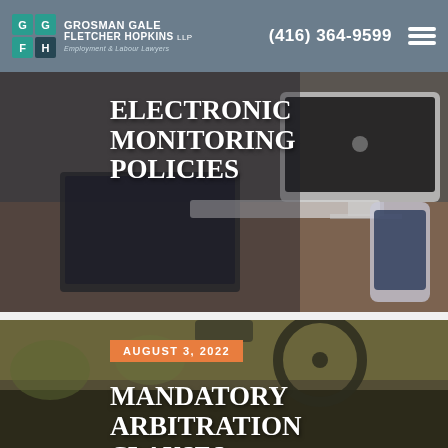Grosman Gale Fletcher Hopkins LLP — Employment & Labour Lawyers | (416) 364-9599
[Figure (photo): Office desk with laptop, iMac computer, keyboard, and smartphone on a wooden desk — background for Electronic Monitoring Policies article]
ELECTRONIC MONITORING POLICIES
[Figure (photo): Person driving a car, view from inside vehicle — background for Mandatory Arbitration Clauses article]
AUGUST 3, 2022
MANDATORY ARBITRATION CLAUSES...